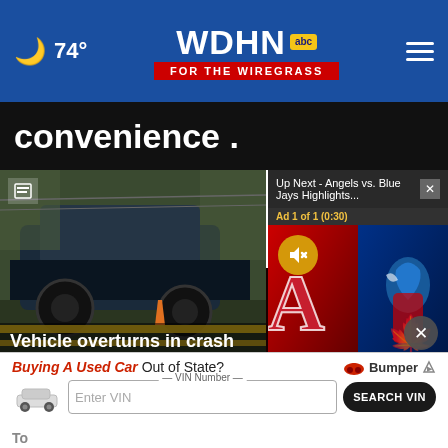74° WDHN FOR THE WIREGRASS
convenience .
[Figure (screenshot): Up Next - Angels vs. Blue Jays Highlights video overlay with mute button, showing Angels and Blue Jays logos. Ad 1 of 1 (0:30)]
[Figure (photo): Vehicle overturned in crash near Twitchell Road - photo of overturned vehicle with yellow tape]
Vehicle overturns in crash near Twitchell Road
[Figure (photo): Traffic alert: Road closure on Meadowbrook Drive - photo with red and white barriers]
TRAFFIC ALERT: Road closure on Meadowbrook Drive
Buying A Used Car Out of State? Bumper — VIN Number — Enter VIN — SEARCH VIN
To